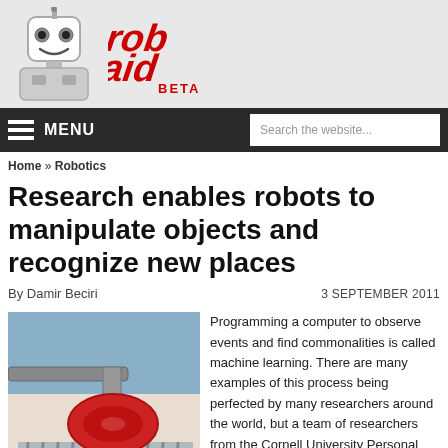[Figure (logo): Robaid website logo with cartoon robot mascot and red stylized text 'robaid' with BETA subtitle]
MENU  Search the website...
Home » Robotics
Research enables robots to manipulate objects and recognize new places
By Damir Beciri  3 SEPTEMBER 2011
[Figure (photo): A robotic arm holding a red plate/disc near a dish rack]
Programming a computer to observe events and find commonalities is called machine learning. There are many examples of this process being perfected by many researchers around the world, but a team of researchers from the Cornell University Personal Robotics Laboratory is teaching robots